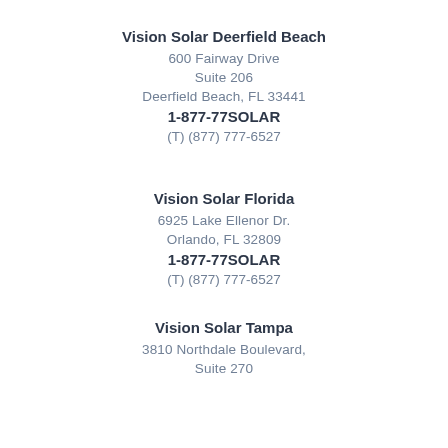Vision Solar Deerfield Beach
600 Fairway Drive
Suite 206
Deerfield Beach, FL 33441
1-877-77SOLAR
(T) (877) 777-6527
Vision Solar Florida
6925 Lake Ellenor Dr.
Orlando, FL 32809
1-877-77SOLAR
(T) (877) 777-6527
Vision Solar Tampa
3810 Northdale Boulevard,
Suite 270